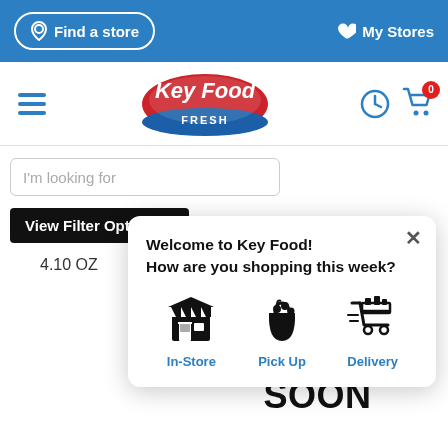Find a store | My Stores
[Figure (screenshot): Key Food Fresh logo in red oval with white text]
I'm looking for
View Filter Options +
4.10 OZ
Welcome to Key Food!
How are you shopping this week?
In-Store
Pick Up
Delivery
IMAGE COMING SOON